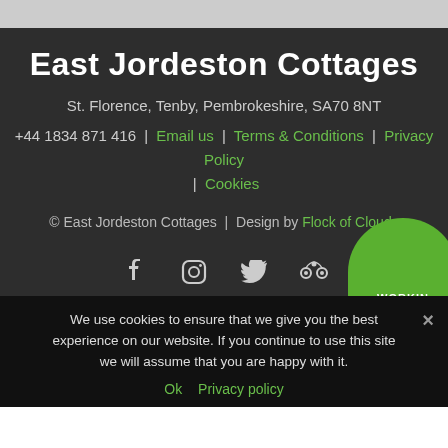East Jordeston Cottages
St. Florence, Tenby, Pembrokeshire, SA70 8NT
+44 1834 871 416 | Email us | Terms & Conditions | Privacy Policy | Cookies
© East Jordeston Cottages | Design by Flock of Clouds
[Figure (other): Social media icons: Facebook, Instagram, Twitter, TripAdvisor, and a green circle partially visible with text]
We use cookies to ensure that we give you the best experience on our website. If you continue to use this site we will assume that you are happy with it.
Ok  Privacy policy